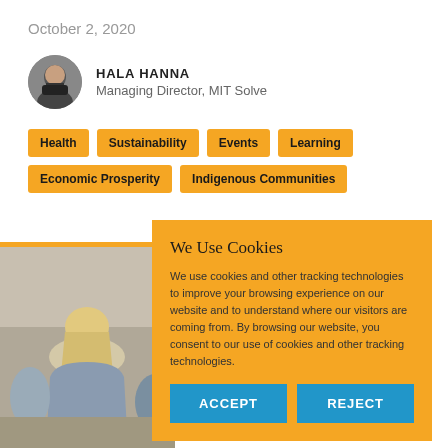October 2, 2020
HALA HANNA
Managing Director, MIT Solve
Health
Sustainability
Events
Learning
Economic Prosperity
Indigenous Communities
[Figure (photo): Photo of a person with blonde hair seen from behind, in a meeting or classroom setting]
We Use Cookies
We use cookies and other tracking technologies to improve your browsing experience on our website and to understand where our visitors are coming from. By browsing our website, you consent to our use of cookies and other tracking technologies.
ACCEPT
REJECT